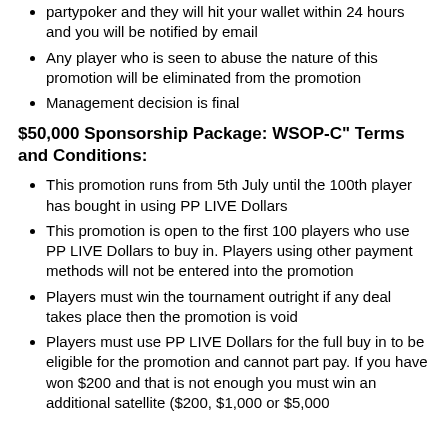partypoker and they will hit your wallet within 24 hours and you will be notified by email
Any player who is seen to abuse the nature of this promotion will be eliminated from the promotion
Management decision is final
$50,000 Sponsorship Package: WSOP-C" Terms and Conditions:
This promotion runs from 5th July until the 100th player has bought in using PP LIVE Dollars
This promotion is open to the first 100 players who use PP LIVE Dollars to buy in. Players using other payment methods will not be entered into the promotion
Players must win the tournament outright if any deal takes place then the promotion is void
Players must use PP LIVE Dollars for the full buy in to be eligible for the promotion and cannot part pay. If you have won $200 and that is not enough you must win an additional satellite ($200, $1,000 or $5,000